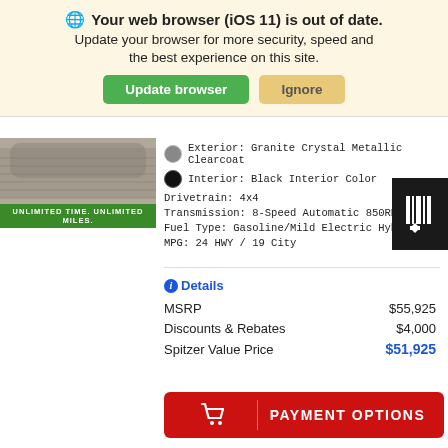🌐 Your web browser (iOS 11) is out of date. Update your browser for more security, speed and the best experience on this site.
Update browser | Ignore
[Figure (photo): Car image with green badge reading UNLIMITED TIME. UNLIMITED MILES.]
Exterior: Granite Crystal Metallic Clearcoat
Interior: Black Interior Color
Drivetrain: 4x4
Transmission: 8-Speed Automatic 850RE Transmission
Fuel Type: Gasoline/Mild Electric Hybrid
MPG: 24 HWY / 19 City
Details
| Item | Price |
| --- | --- |
| MSRP | $55,925 |
| Discounts & Rebates | $4,000 |
| Spitzer Value Price | $51,925 |
PAYMENT OPTIONS